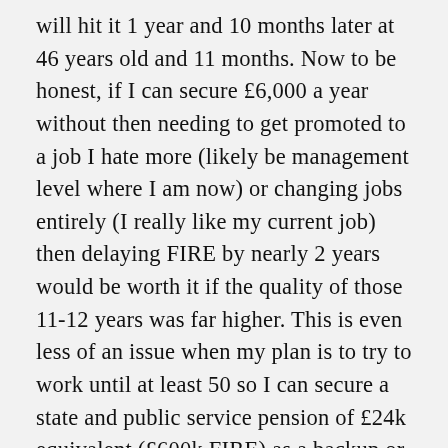will hit it 1 year and 10 months later at 46 years old and 11 months. Now to be honest, if I can secure £6,000 a year without then needing to get promoted to a job I hate more (likely be management level where I am now) or changing jobs entirely (I really like my current job) then delaying FIRE by nearly 2 years would be worth it if the quality of those 11-12 years was far higher. This is even less of an issue when my plan is to try to work until at least 50 so I can secure a state and public service pension of £24k equivalent (£600k FIRE) as a backup or so I can use my actual £600k FIRE as a bridge into that, it helps me sleep better at night for sure.